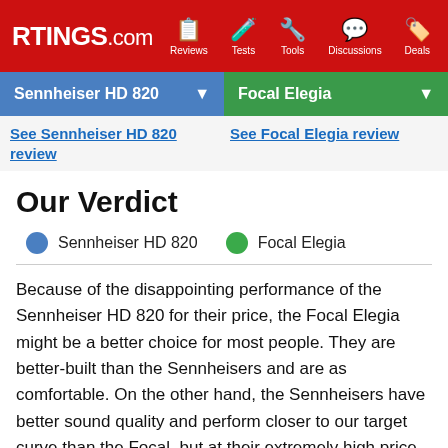RTINGS.com — Reviews, Tests, Tools, Discussions, Deals
Sennheiser HD 820 | Focal Elegia
See Sennheiser HD 820 review | See Focal Elegia review
Our Verdict
Sennheiser HD 820   Focal Elegia
Because of the disappointing performance of the Sennheiser HD 820 for their price, the Focal Elegia might be a better choice for most people. They are better-built than the Sennheisers and are as comfortable. On the other hand, the Sennheisers have better sound quality and perform closer to our target curve than the Focal, but at their extremely high price point, you could probably find something